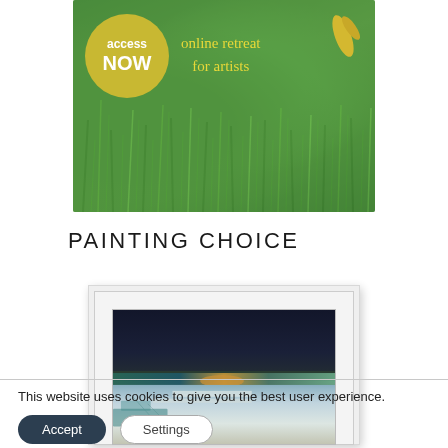[Figure (illustration): Promotional banner with green grassy background, yellow circle with 'access NOW' text, yellow text 'online retreat for artists', and yellow brush stroke decoration in top right]
PAINTING CHOICE
[Figure (photo): Abstract landscape painting in a white frame showing dark navy sky at top, teal/green mid section with gold accent, and light grey/blue foreground]
This website uses cookies to give you the best user experience.